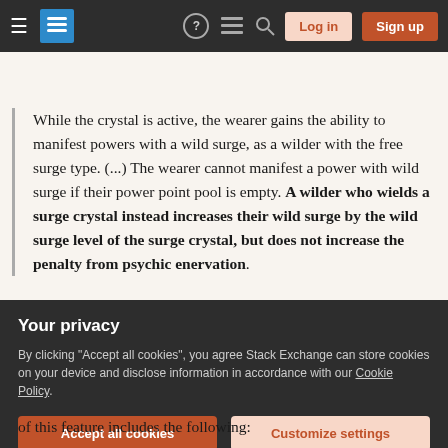Stack Exchange navigation bar with Log in and Sign up buttons
While the crystal is active, the wearer gains the ability to manifest powers with a wild surge, as a wilder with the free surge type. (...) The wearer cannot manifest a power with wild surge if their power point pool is empty. A wilder who wields a surge crystal instead increases their wild surge by the wild surge level of the surge crystal, but does not increase the penalty from psychic enervation.
My question is regarding the bold text. The description
Your privacy
By clicking "Accept all cookies", you agree Stack Exchange can store cookies on your device and disclose information in accordance with our Cookie Policy.
of this feature includes the following: